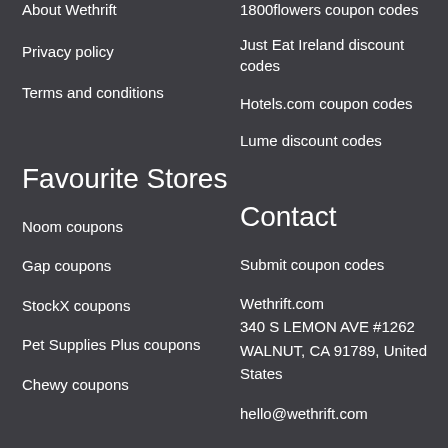About Wethrift
Privacy policy
Terms and conditions
1800flowers coupon codes
Just Eat Ireland discount codes
Hotels.com coupon codes
Lume discount codes
Favourite Stores
Contact
Noom coupons
Gap coupons
StockX coupons
Pet Supplies Plus coupons
Chewy coupons
Submit coupon codes
Wethrift.com
340 S LEMON AVE #1262
WALNUT, CA 91789, United States
hello@wethrift.com